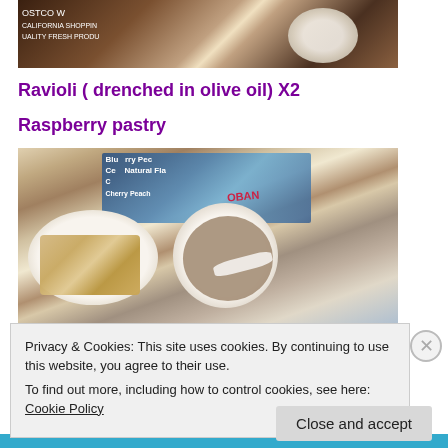[Figure (photo): Partial photo of food/dessert at top of page, showing a Costco wholesale setting with a white doily and food item]
Ravioli ( drenched in olive oil) X2
Raspberry pastry
[Figure (photo): Photo of food items in a Costco shopping cart or display: pastry on white doily paper and a cup with liquid/soup and a spoon, with packaged food products in background including a blue package]
Privacy & Cookies: This site uses cookies. By continuing to use this website, you agree to their use.
To find out more, including how to control cookies, see here: Cookie Policy
Close and accept